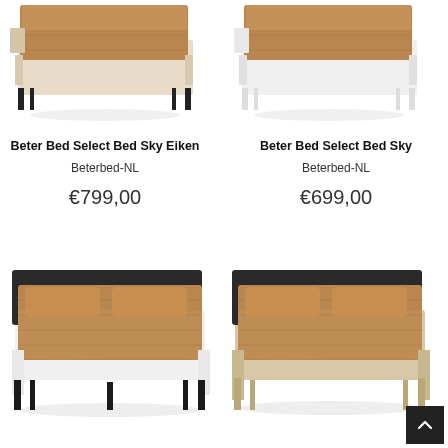[Figure (photo): Product photo of Beter Bed Select Bed Sky Eiken (top left) - a bed with light oak/beige frame and black legs with brown/tan bedding]
Beter Bed Select Bed Sky Eiken
Beterbed-NL
€799,00
[Figure (photo): Product photo of Beter Bed Select Bed Sky (top right) - a bed with white frame and brown/tan bedding]
Beter Bed Select Bed Sky
Beterbed-NL
€699,00
[Figure (photo): Product photo of a bed (bottom left) - a double bed with dark upholstered headboard, white frame, black legs, and brown/tan bedding with pillows]
[Figure (photo): Product photo of a bed (bottom right) - a double bed with dark upholstered headboard, light oak/beige frame, and brown/tan bedding with pillows]